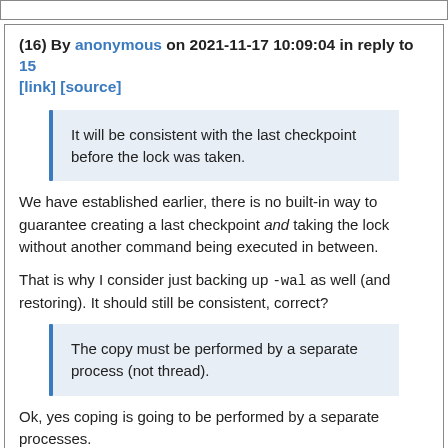(16) By anonymous on 2021-11-17 10:09:04 in reply to 15 [link] [source]
It will be consistent with the last checkpoint before the lock was taken.
We have established earlier, there is no built-in way to guarantee creating a last checkpoint and taking the lock without another command being executed in between.
That is why I consider just backing up -wal as well (and restoring). It should still be consistent, correct?
The copy must be performed by a separate process (not thread).
Ok, yes coping is going to be performed by a separate processes.
Out of curiosity, what is the problem there? Can opening